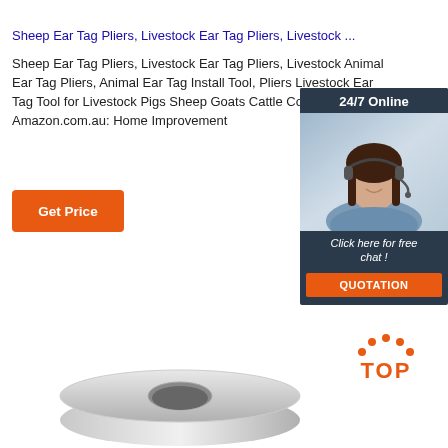Sheep Ear Tag Pliers, Livestock Ear Tag Pliers, Livestock ...
Sheep Ear Tag Pliers, Livestock Ear Tag Pliers, Livestock Animal Ear Tag Pliers, Animal Ear Tag Install Tool, Pliers Livestock Ear Tag Tool for Livestock Pigs Sheep Goats Cattle Cows,Ear tag... Amazon.com.au: Home Improvement
[Figure (other): Orange 'Get Price' button]
[Figure (other): 24/7 Online chat widget with photo of woman wearing headset, 'Click here for free chat!' text, and orange QUOTATION button]
[Figure (logo): TOP badge with orange dots and orange bold TOP text]
[Figure (photo): Product photo: roll of white tape or similar cylindrical product]